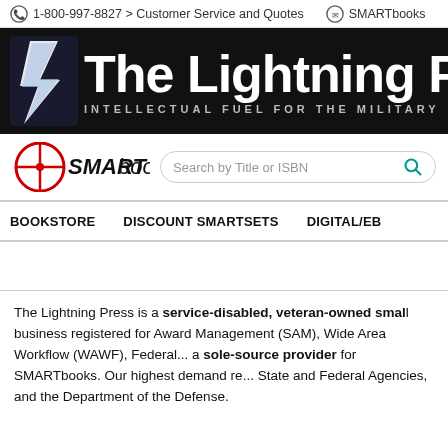1-800-997-8827 > Customer Service and Quotes   SMARTbooks
[Figure (logo): The Lightning Press banner with lightning bolt logo. Tagline: INTELLECTUAL FUEL FOR THE MILITARY]
[Figure (logo): SMARTbooks crosshair logo with search bar]
BOOKSTORE   DISCOUNT SMARTSETS   DIGITAL/EB
The Lightning Press is a service-disabled, veteran-owned small business registered for Award Management (SAM), Wide Area Workflow (WAWF), Federal... a sole-source provider for SMARTbooks. Our highest demand re... State and Federal Agencies, and the Department of the Defense.